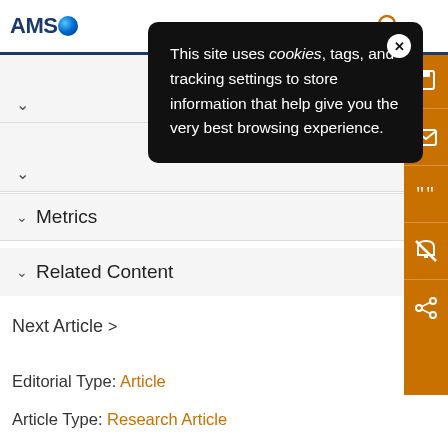AMS [logo]
[Figure (screenshot): Cookie consent popup overlay on AMS website. Black rounded rectangle with white text: 'This site uses cookies, tags, and tracking settings to store information that help give you the very best browsing experience.' with a white circle X close button in top right.]
Metrics
Related Content
Next Article >
Editorial Type: Article
Article Type: Research Article